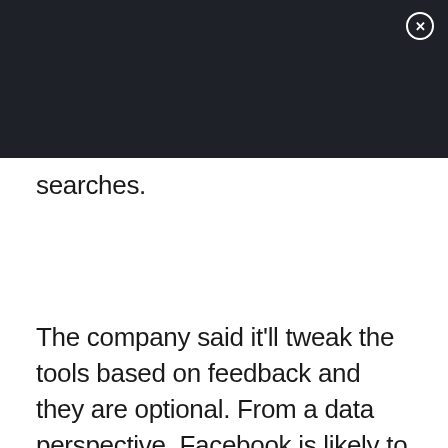[Figure (other): Dark header bar with close button (X) in top-right corner]
searches.
The company said it'll tweak the tools based on feedback and they are optional. From a data perspective, Facebook is likely to garner some mass data on how people manage breakups.